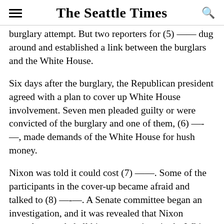The Seattle Times
burglary attempt. But two reporters for (5) —— dug around and established a link between the burglars and the White House.
Six days after the burglary, the Republican president agreed with a plan to cover up White House involvement. Seven men pleaded guilty or were convicted of the burglary and one of them, (6) —-—, made demands of the White House for hush money.
Nixon was told it could cost (7) ——. Some of the participants in the cover-up became afraid and talked to (8) —-—. A Senate committee began an investigation, and it was revealed that Nixon secretly recorded all his conversations in the White